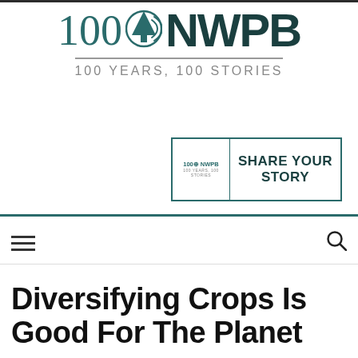[Figure (logo): NWPB 100 Years, 100 Stories logo with pine tree icon]
[Figure (logo): Share Your Story banner with NWPB logo]
Diversifying Crops Is Good For The Planet